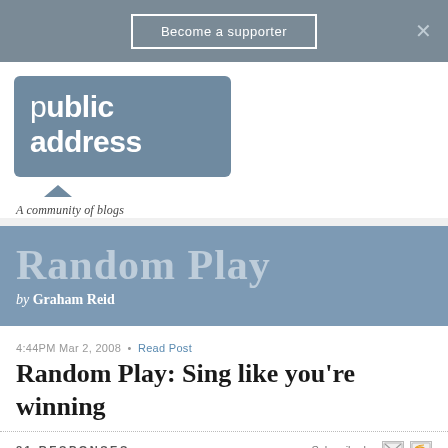Become a supporter
[Figure (logo): Public Address logo — blue speech bubble with white bold text 'public address' and tagline 'A community of blogs']
[Figure (illustration): Random Play by Graham Reid — blue banner with large semi-transparent serif text 'Random Play' and italic byline 'by Graham Reid']
4:44PM Mar 2, 2008 • Read Post
Random Play: Sing like you're winning
81 RESPONSES   Subscribe by [email] [RSS]
← Older  1  2  3  4  Newer →